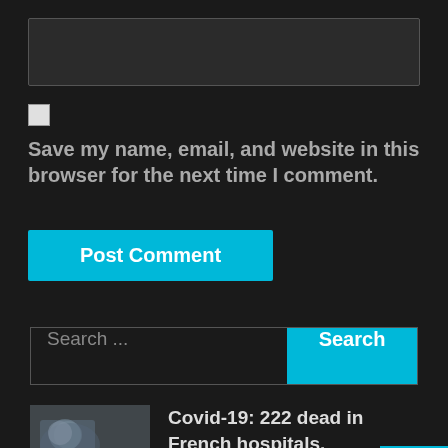[Figure (screenshot): Dark-themed webpage comment form section showing a text input box, a checkbox, and a 'Save my name, email, and website in this browser for the next time I comment.' label, followed by a cyan 'Post Comment' button.]
Save my name, email, and website in this browser for the next time I comment.
Post Comment
Search ...
Search
Covid-19: 222 dead in French hospitals. 5,231 patients in intensive care